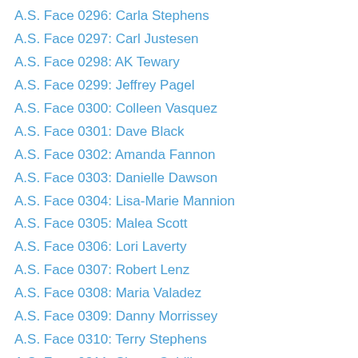A.S. Face 0296: Carla Stephens
A.S. Face 0297: Carl Justesen
A.S. Face 0298: AK Tewary
A.S. Face 0299: Jeffrey Pagel
A.S. Face 0300: Colleen Vasquez
A.S. Face 0301: Dave Black
A.S. Face 0302: Amanda Fannon
A.S. Face 0303: Danielle Dawson
A.S. Face 0304: Lisa-Marie Mannion
A.S. Face 0305: Malea Scott
A.S. Face 0306: Lori Laverty
A.S. Face 0307: Robert Lenz
A.S. Face 0308: Maria Valadez
A.S. Face 0309: Danny Morrissey
A.S. Face 0310: Terry Stephens
A.S. Face 0311: Shona Cahill
A.S. Face 0312: Fanieliz Custodio
A.S. Face 0313: Lisa Slaydon
A.S. Face 0314: Brandon Snow
A.S. Face 0315: Ange Eely